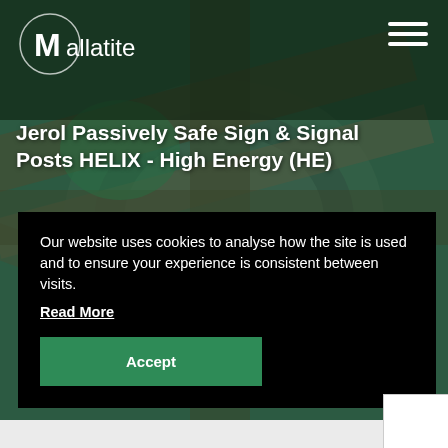[Figure (photo): Aerial view of highway interchange with green color overlay, serving as hero background image for a Mallatite product page]
Mallatite logo and hamburger menu navigation
Jerol Passively Safe Sign & Signal Posts HELIX - High Energy (HE)
Our website uses cookies to analyse how the site is used and to ensure your experience is consistent between visits.
Read More
Accept